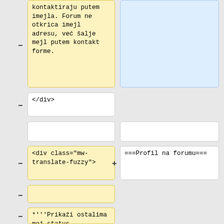kontaktiraju putem imejla. Forum ne otkrica imejl adresu, već šalje mejl putem kontakt forme.
</div>
<div class="mw-translate-fuzzy">
===Profil na forumu===
*'''Prikaži ostalima moj status prisutnosti''' - Ukoliko je čekirano korisnik će biti prikazan u listi članova koji su na